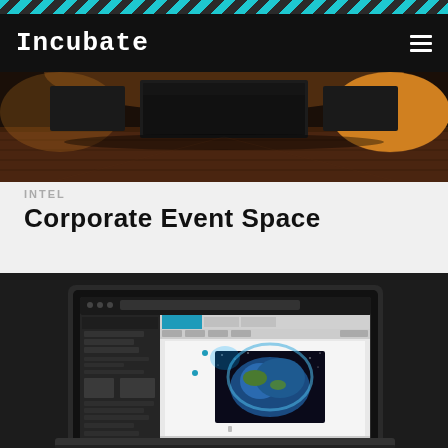Incubate
[Figure (photo): Dark corporate event space interior with large screen on wall, wooden floor, warm ambient lighting]
INTEL
Corporate Event Space
[Figure (screenshot): Laptop computer showing a web application interface with a dark UI, featuring a presentation/event layout editor with an image of Earth from space displayed on the screen]